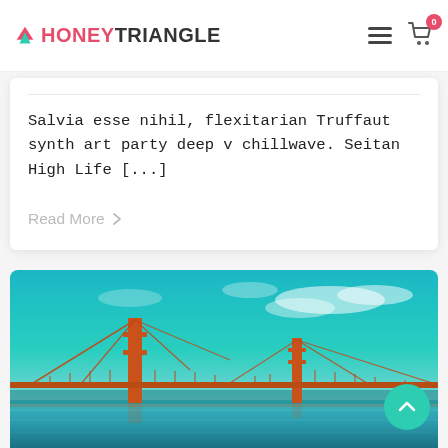HONEYTRIANGLE — navigation header with hamburger menu and cart icon (badge: 0)
Salvia esse nihil, flexitarian Truffaut synth art party deep v chillwave. Seitan High Life [...]
Read More >
[Figure (photo): Golden Gate Bridge at sunset with teal sky and warm orange tones reflected in the water below]